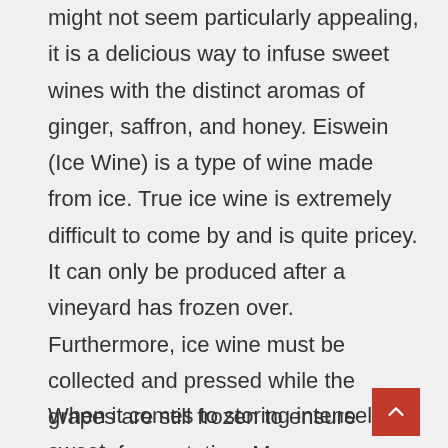might not seem particularly appealing, it is a delicious way to infuse sweet wines with the distinct aromas of ginger, saffron, and honey. Eiswein (Ice Wine) is a type of wine made from ice. True ice wine is extremely difficult to come by and is quite pricey. It can only be produced after a vineyard has frozen over. Furthermore, ice wine must be collected and pressed while the grapes are still frozen to ensure proper fermentation. Many are manufactured in Canada
When it comes to storing intensely sweet